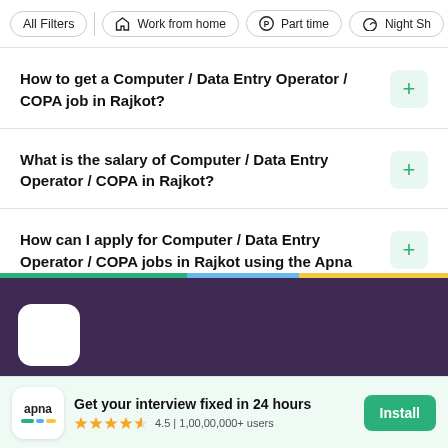All Filters | Work from home | Part time | Night Sh
How to get a Computer / Data Entry Operator / COPA job in Rajkot?
What is the salary of Computer / Data Entry Operator / COPA in Rajkot?
How can I apply for Computer / Data Entry Operator / COPA jobs in Rajkot using the Apna app?
Get your interview fixed in 24 hours
4.5 | 1,00,00,000+ users